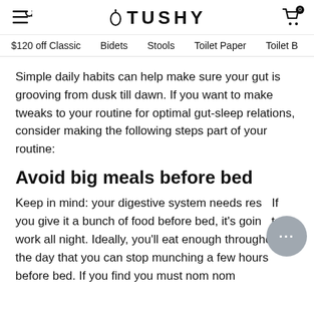TUSHY — $120 off Classic | Bidets | Stools | Toilet Paper | Toilet B
Simple daily habits can help make sure your gut is grooving from dusk till dawn. If you want to make tweaks to your routine for optimal gut-sleep relations, consider making the following steps part of your routine:
Avoid big meals before bed
Keep in mind: your digestive system needs rest. If you give it a bunch of food before bed, it's going to work all night. Ideally, you'll eat enough throughout the day that you can stop munching a few hours before bed. If you find you must nom nom